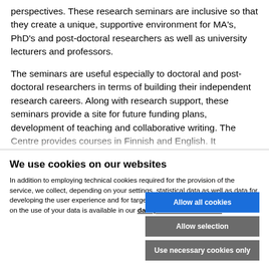perspectives. These research seminars are inclusive so that they create a unique, supportive environment for MA's, PhD's and post-doctoral researchers as well as university lecturers and professors.
The seminars are useful especially to doctoral and post-doctoral researchers in terms of building their independent research careers. Along with research support, these seminars provide a site for future funding plans, development of teaching and collaborative writing. The Centre provides courses in Finnish and English. It
We use cookies on our websites
In addition to employing technical cookies required for the provision of the service, we collect, depending on your settings, statistical data as well as data for developing the user experience and for targeted marketing. Further information on the use of your data is available in our data protection statement.